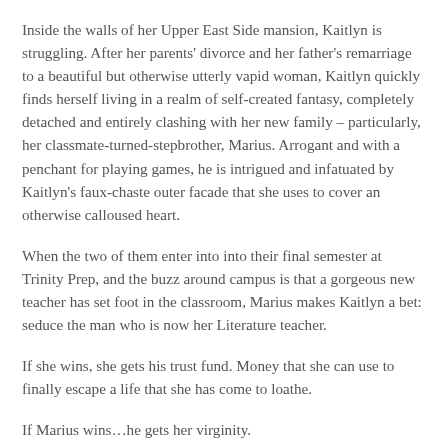Inside the walls of her Upper East Side mansion, Kaitlyn is struggling. After her parents' divorce and her father's remarriage to a beautiful but otherwise utterly vapid woman, Kaitlyn quickly finds herself living in a realm of self-created fantasy, completely detached and entirely clashing with her new family – particularly, her classmate-turned-stepbrother, Marius. Arrogant and with a penchant for playing games, he is intrigued and infatuated by Kaitlyn's faux-chaste outer facade that she uses to cover an otherwise calloused heart.
When the two of them enter into into their final semester at Trinity Prep, and the buzz around campus is that a gorgeous new teacher has set foot in the classroom, Marius makes Kaitlyn a bet: seduce the man who is now her Literature teacher.
If she wins, she gets his trust fund. Money that she can use to finally escape a life that she has come to loathe.
If Marius wins…he gets her virginity.
When an initial spark turns into full-blown obsession, and her affections are inevitably returned – Kaitlyn learns that there are